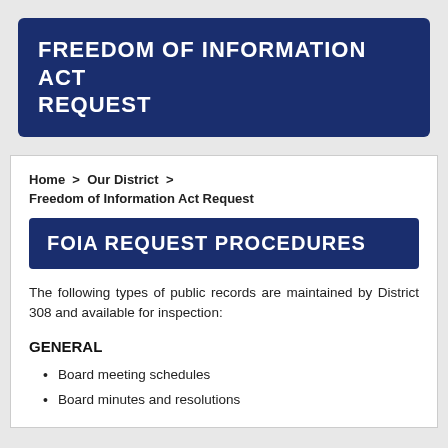FREEDOM OF INFORMATION ACT REQUEST
Home > Our District > Freedom of Information Act Request
FOIA REQUEST PROCEDURES
The following types of public records are maintained by District 308 and available for inspection:
GENERAL
Board meeting schedules
Board minutes and resolutions